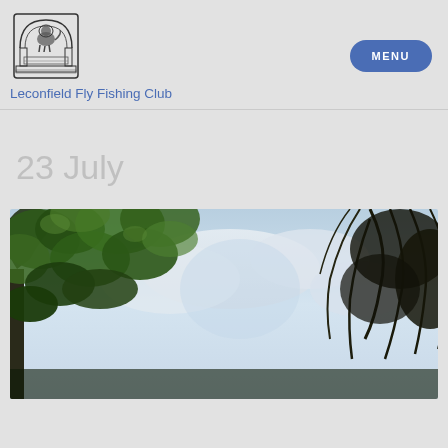[Figure (logo): Leconfield Fly Fishing Club crest logo — black and white heraldic image with a lion inside an arched gateway]
Leconfield Fly Fishing Club
MENU
23 July
[Figure (photo): Outdoor nature photo looking up through green tree canopy (chestnut and willow leaves) against a blue and cloudy sky]